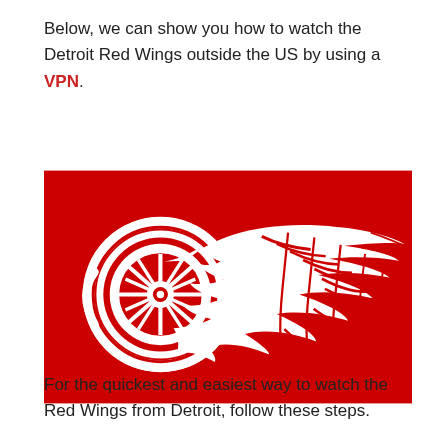Below, we can show you how to watch the Detroit Red Wings outside the US by using a VPN.
[Figure (logo): Detroit Red Wings logo — white winged wheel on a red rectangular background]
For the quickest and easiest way to watch the Red Wings from Detroit, follow these steps.